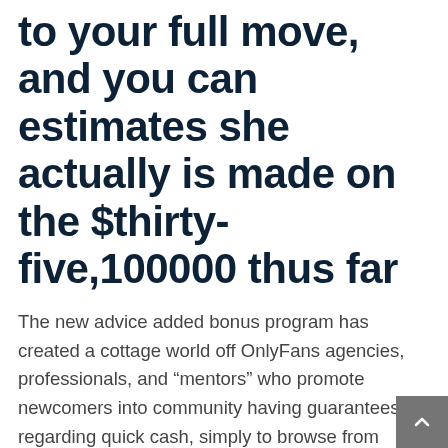to your full move, and you can estimates she actually is made on the $thirty-five,100000 thus far
The new advice added bonus program has created a cottage world off OnlyFans agencies, professionals, and “mentors” who promote newcomers into community having guarantees regarding quick cash, simply to browse from several of the earnings. “[Some of] they faking those individuals TikToks – when i have always